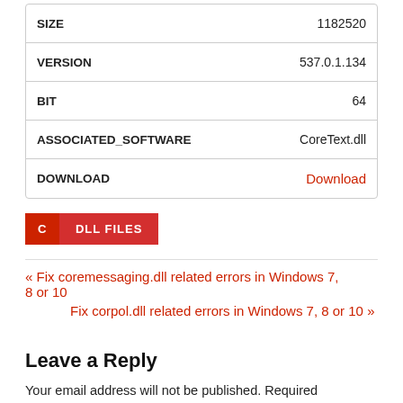| Property | Value |
| --- | --- |
| SIZE | 1182520 |
| VERSION | 537.0.1.134 |
| BIT | 64 |
| ASSOCIATED_SOFTWARE | CoreText.dll |
| DOWNLOAD | Download |
C
DLL FILES
« Fix coremessaging.dll related errors in Windows 7, 8 or 10
Fix corpol.dll related errors in Windows 7, 8 or 10 »
Leave a Reply
Your email address will not be published. Required